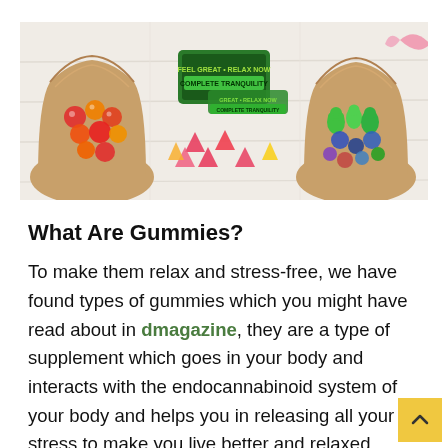[Figure (photo): Banner photo showing bags of colorful gummies and candies on a white wooden surface. Left bag contains red/orange round gummies, center area shows scattered triangle-shaped gummies with CBD product packaging visible in the middle, right bag contains green and blue mixed gummy shapes.]
What Are Gummies?
To make them relax and stress-free, we have found types of gummies which you might have read about in dmagazine, they are a type of supplement which goes in your body and interacts with the endocannabinoid system of your body and helps you in releasing all your stress to make you live better and relaxed. These gummies also have benefits to your body and we offer you the best types of